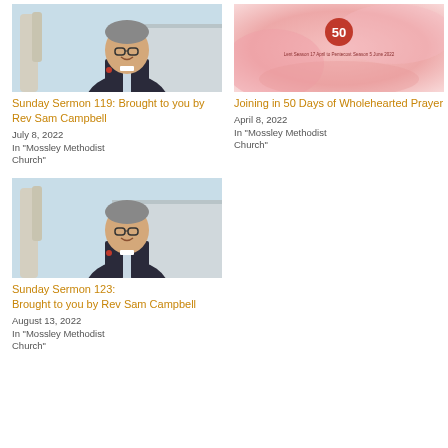[Figure (photo): Photo of Rev Sam Campbell, a smiling man in clerical collar standing outdoors near trees]
Sunday Sermon 119: Brought to you by Rev Sam Campbell
July 8, 2022
In "Mossley Methodist Church"
[Figure (photo): Pink watercolour-style banner image with red circle badge showing '50' and small text below for 50 Days of Wholehearted Prayer event]
Joining in 50 Days of Wholehearted Prayer
April 8, 2022
In "Mossley Methodist Church"
[Figure (photo): Photo of Rev Sam Campbell, a smiling man in clerical collar standing outdoors near trees]
Sunday Sermon 123: Brought to you by Rev Sam Campbell
August 13, 2022
In "Mossley Methodist Church"